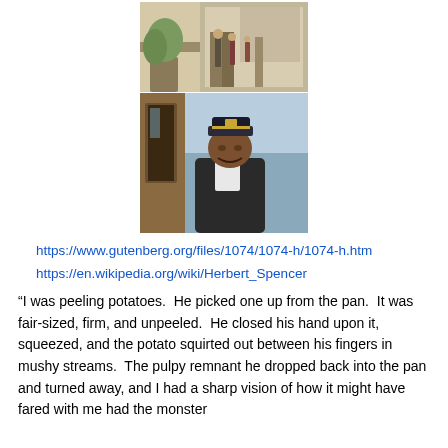[Figure (photo): Two stacked photographs: top photo shows people standing outside a building with trees; bottom photo shows a man in a captain's hat and dark jacket standing near water.]
https://www.gutenberg.org/files/1074/1074-h/1074-h.htm
https://en.wikipedia.org/wiki/Herbert_Spencer
“I was peeling potatoes.  He picked one up from the pan.  It was fair-sized, firm, and unpeeled.  He closed his hand upon it, squeezed, and the potato squirted out between his fingers in mushy streams.  The pulpy remnant he dropped back into the pan and turned away, and I had a sharp vision of how it might have fared with me had the monster